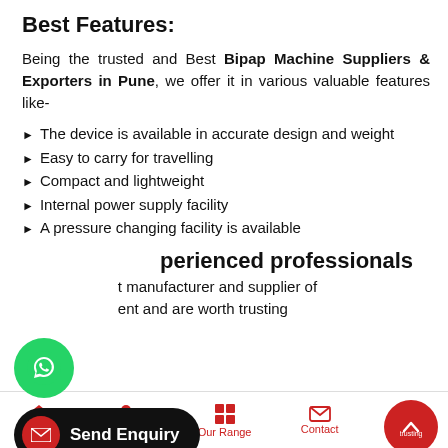Best Features:
Being the trusted and Best Bipap Machine Suppliers & Exporters in Pune, we offer it in various valuable features like-
The device is available in accurate design and weight
Easy to carry for travelling
Compact and lightweight
Internal power supply facility
A pressure changing facility is available
...perienced professionals
...t manufacturer and supplier of ...ent and are worth trusting
Home | About Us | Our Range | Contact | Call Us